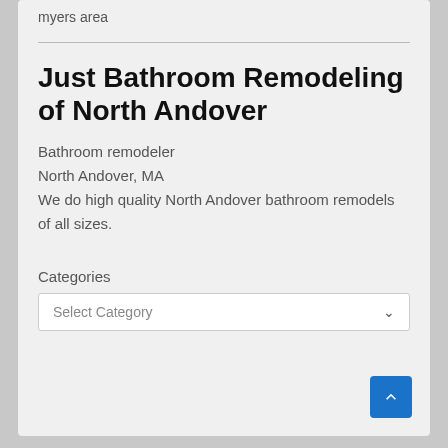myers area
Just Bathroom Remodeling of North Andover
Bathroom remodeler
North Andover, MA
We do high quality North Andover bathroom remodels of all sizes.
Categories
Select Category